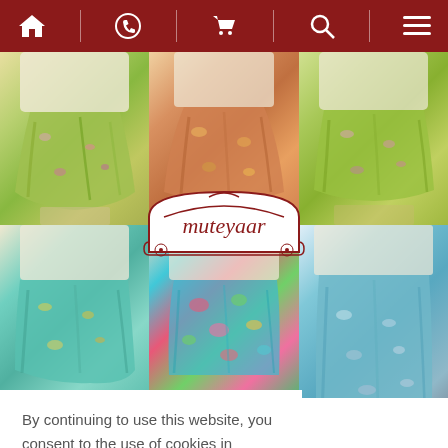Navigation bar with home, whatsapp, cart, search, menu icons
[Figure (photo): Grid of 6 product photos showing traditional Indian Patiala salwar/dhoti pants in colorful floral prints. Top row: green floral print, orange/rust floral print, green floral print. Bottom row: teal/multicolor floral, bright multicolor floral, teal floral. Brand logo 'muteyaar' in red text inside decorative arch overlay in center.]
By continuing to use this website, you consent to the use of cookies in accordance with our Cookie Policy.
ACCEPT